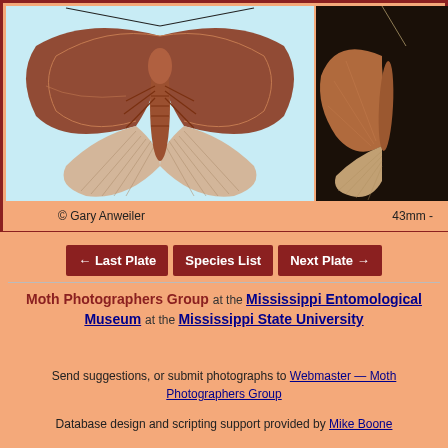[Figure (photo): Photograph of a moth (spread wings) on light blue background — left image. Copyright Gary Anweiler.]
[Figure (photo): Close-up photograph of moth wings on dark/black background — right image. Labeled 43mm.]
© Gary Anweiler
43mm -
[Figure (infographic): Navigation buttons: ← Last Plate | Species List | Next Plate →]
Moth Photographers Group at the Mississippi Entomological Museum at the Mississippi State University
Send suggestions, or submit photographs to Webmaster — Moth Photographers Group
Database design and scripting support provided by Mike Boone